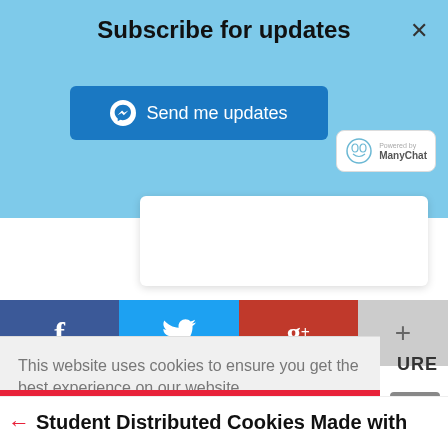Subscribe for updates
[Figure (screenshot): Send me updates button with Facebook Messenger icon, blue rounded rectangle]
[Figure (logo): Powered by ManyChat badge with octopus logo]
[Figure (screenshot): Social share buttons row: Facebook (f), Twitter bird, Google+ (g+), More (+)]
This website uses cookies to ensure you get the best experience on our website.
Learn more
I AGREE!
← Student Distributed Cookies Made with